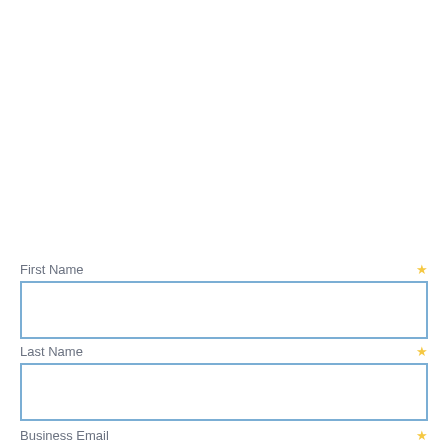First Name ★
Last Name ★
Business Email ★